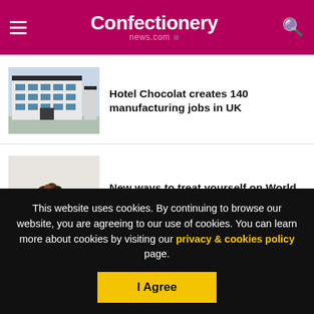Confectionery news.com
[Figure (photo): Photo of a modern industrial/office building exterior, white facade, dark windows]
Hotel Chocolat creates 140 manufacturing jobs in UK
[Figure (photo): Photo of chocolates in a small white cup/bowl on a white surface]
New ways to treat yourself on World Chocolate Day
This website uses cookies. By continuing to browse our website, you are agreeing to our use of cookies. You can learn more about cookies by visiting our privacy & cookies policy page.